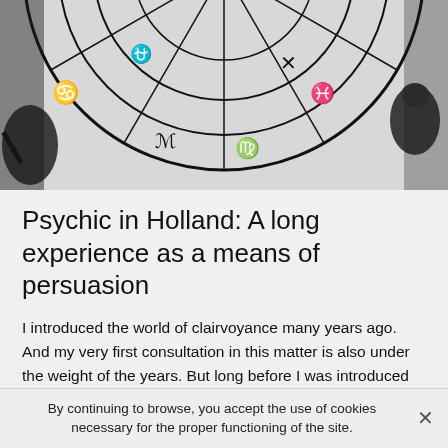[Figure (illustration): Black and white zodiac wheel / astrology chart with horoscope symbols and figures including animals and mythological creatures around the circle, cropped to show upper portion.]
Psychic in Holland: A long experience as a means of persuasion
I introduced the world of clairvoyance many years ago. And my very first consultation in this matter is also under the weight of the years. But long before I was introduced to this profession, my special gift of clairvoyance was awakened within me. Indeed, my very first contact with my gift of clairvoyance probably goes back to when I was younger.
As far as my memory can carry me, I always had the
By continuing to browse, you accept the use of cookies necessary for the proper functioning of the site.